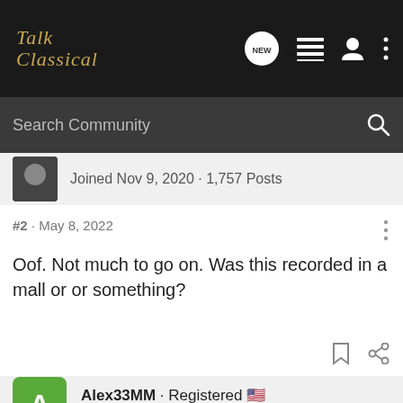Talk Classical
Search Community
Joined Nov 9, 2020 · 1,757 Posts
#2 · May 8, 2022
Oof. Not much to go on. Was this recorded in a mall or or something?
Alex33MM · Registered 🇺🇸
Joined Apr 9, 2022 · 5 Posts